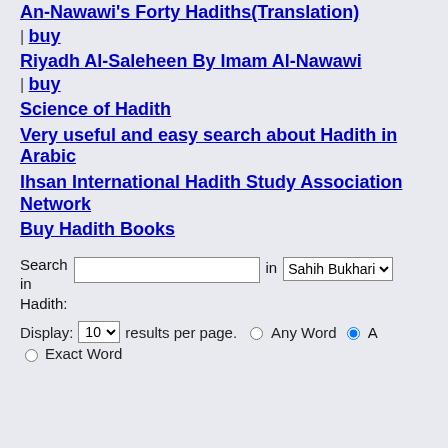An-Nawawi's Forty Hadiths(Translation) | buy
Riyadh Al-Saleheen By Imam Al-Nawawi | buy
Science of Hadith
Very useful and easy search about Hadith in Arabic
Ihsan International Hadith Study Association Network
Buy Hadith Books
Search in Hadith: [input] in Sahih Bukhari [dropdown]
Display: 10 [dropdown] results per page. Any Word (radio) All Word (radio) Exact Word (radio)